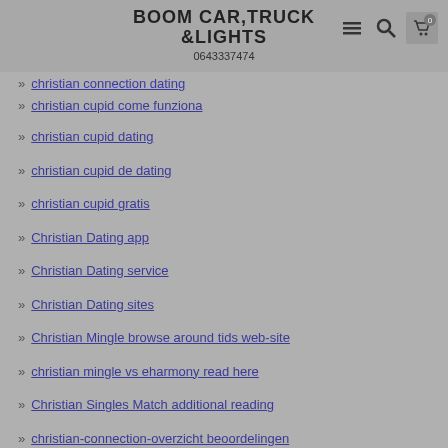BOOM CAR,TRUCK &LIGHTS
0643337474
christian connection dating
christian cupid come funziona
christian cupid dating
christian cupid de dating
christian cupid gratis
Christian Dating app
Christian Dating service
Christian Dating sites
Christian Mingle browse around tids web-site
christian mingle vs eharmony read here
Christian Singles Match additional reading
christian-connection-overzicht beoordelingen
christian-cupid-inceleme review